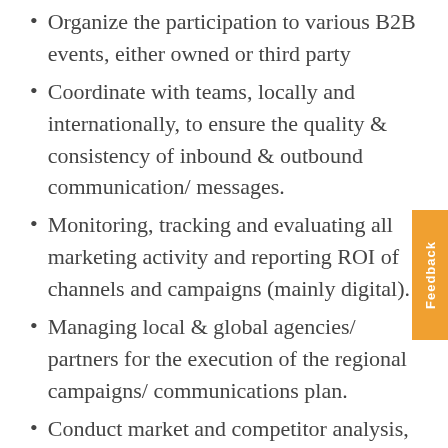Organize the participation to various B2B events, either owned or third party
Coordinate with teams, locally and internationally, to ensure the quality & consistency of inbound & outbound communication/ messages.
Monitoring, tracking and evaluating all marketing activity and reporting ROI of channels and campaigns (mainly digital).
Managing local & global agencies/ partners for the execution of the regional campaigns/ communications plan.
Conduct market and competitor analysis, monitor market conditions and competitors' data.
Handle social media accounts in